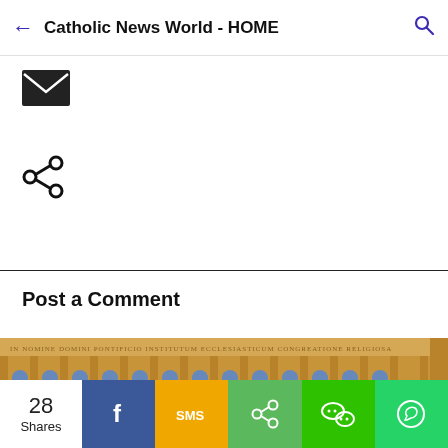Catholic News World - HOME
[Figure (other): Email envelope icon]
[Figure (other): Share/network icon]
Post a Comment
[Figure (photo): Photograph of a ornate classical building facade with arched windows and Latin inscription frieze, appears to be a Vatican or European religious institution building]
28 Shares
[Figure (other): Social share bar with Facebook, SMS, Share, WeChat, and WhatsApp buttons]